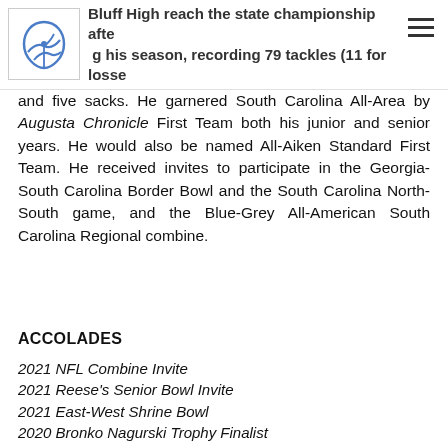Bluff High reach the state championship after his season, recording 79 tackles (11 for losses) and five sacks.
and five sacks. He garnered South Carolina All-Area by Augusta Chronicle First Team both his junior and senior years. He would also be named All-Aiken Standard First Team. He received invites to participate in the Georgia-South Carolina Border Bowl and the South Carolina North-South game, and the Blue-Grey All-American South Carolina Regional combine.
ACCOLADES
2021 NFL Combine Invite
2021 Reese's Senior Bowl Invite
2021 East-West Shrine Bowl
2020 Bronko Nagurski Trophy Finalist
2020 Bednarik Award Semifinalist
2020 Ted Hendricks Award Watch List
2020-21 Senior CLASS Award Candidate
2020 Lott IMPACT Trophy Watch List